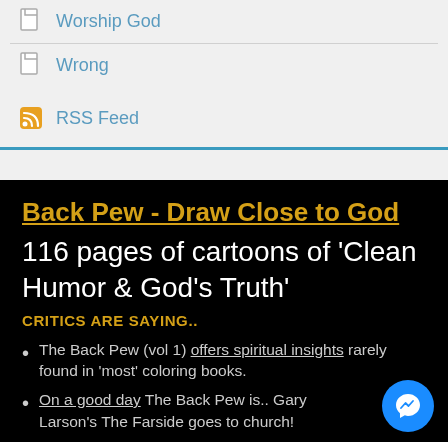Worship God
Wrong
RSS Feed
Back Pew - Draw Close to God
116 pages of cartoons of 'Clean Humor & God's Truth'
CRITICS ARE SAYING..
The Back Pew (vol 1) offers spiritual insights rarely found in 'most' coloring books.
On a good day The Back Pew is.. Gary Larson's The Farside goes to church!